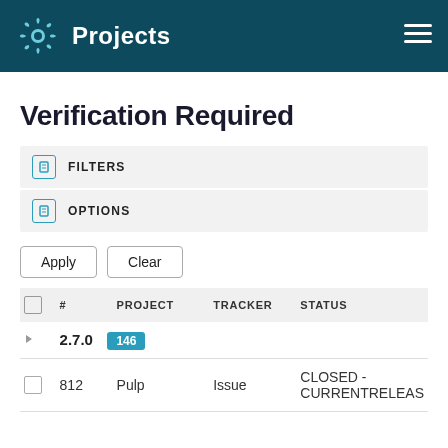Projects
Verification Required
FILTERS
OPTIONS
Apply  Clear
|  | # |  | PROJECT | TRACKER | STATUS |
| --- | --- | --- | --- | --- | --- |
|  | 2.7.0 | 146 |  |  |  |
|  | 812 | Pulp | Issue | CLOSED - CURRENTRELEAS |  |